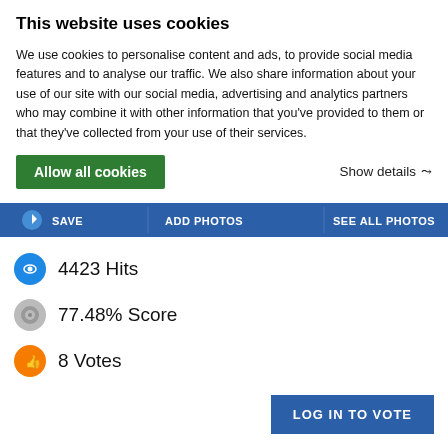This website uses cookies
We use cookies to personalise content and ads, to provide social media features and to analyse our traffic. We also share information about your use of our site with our social media, advertising and analytics partners who may combine it with other information that you've provided to them or that they've collected from your use of their services.
Allow all cookies
Show details
[Figure (screenshot): Navigation bar with SAVE, ADD PHOTOS, SEE ALL PHOTOS buttons in blue]
4423 Hits
77.48% Score
8 Votes
LOG IN TO VOTE
Images (9)
Climber's Log Entries (2)
Comments
Additions & Corrections